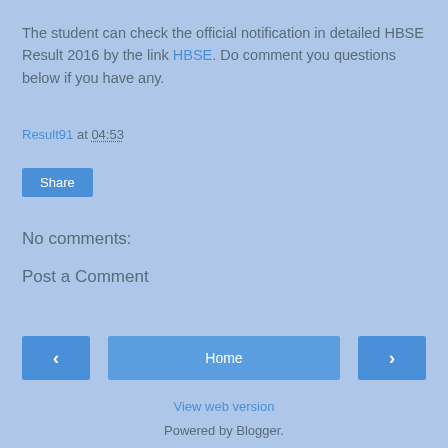The student can check the official notification in detailed HBSE Result 2016 by the link HBSE. Do comment you questions below if you have any.
Result91 at 04:53
Share
No comments:
Post a Comment
< | Home | >
View web version
Powered by Blogger.